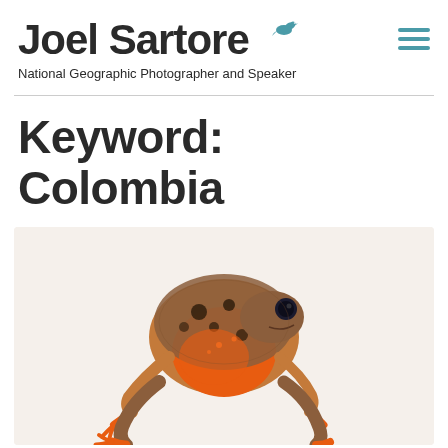Joel Sartore — National Geographic Photographer and Speaker
Keyword: Colombia
[Figure (photo): A poison dart frog photographed against a white/light background. The frog has a brown and orange body with dark spots, seen from the side/rear angle, with orange legs extended downward.]